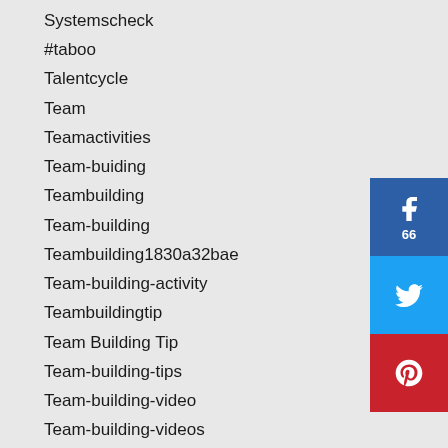Systemscheck
#taboo
Talentcycle
Team
Teamactivities
Team-buiding
Teambuilding
Team-building
Teambuilding1830a32bae
Team-building-activity
Teambuildingtip
Team Building Tip
Team-building-tips
Team-building-video
Team-building-videos
Team-buildling-tips
Team-coaching
Teamconflict
Teamculture
[Figure (infographic): Social share buttons: Facebook with count 66, Twitter, Pinterest]